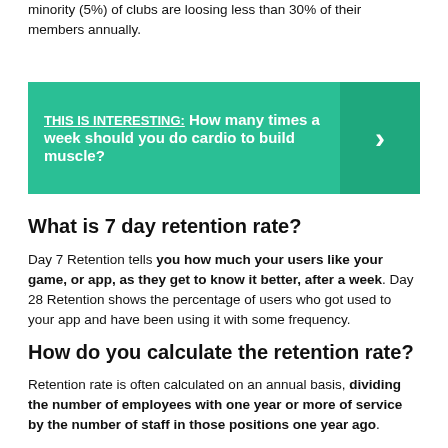minority (5%) of clubs are loosing less than 30% of their members annually.
[Figure (infographic): Green banner with bold white text: 'THIS IS INTERESTING: How many times a week should you do cardio to build muscle?' with a right-arrow chevron on darker green right panel.]
What is 7 day retention rate?
Day 7 Retention tells you how much your users like your game, or app, as they get to know it better, after a week. Day 28 Retention shows the percentage of users who got used to your app and have been using it with some frequency.
How do you calculate the retention rate?
Retention rate is often calculated on an annual basis, dividing the number of employees with one year or more of service by the number of staff in those positions one year ago.